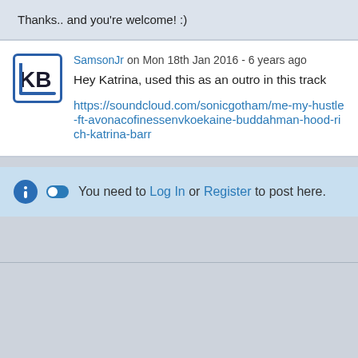Thanks.. and you're welcome! :)
SamsonJr on Mon 18th Jan 2016 - 6 years ago
Hey Katrina, used this as an outro in this track
https://soundcloud.com/sonicgotham/me-my-hustle-ft-avonacofinessenvkoekaine-buddahman-hood-rich-katrina-barr
You need to Log In or Register to post here.